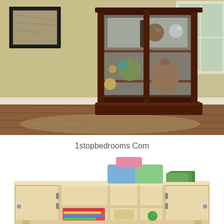[Figure (photo): Photo of a dark wood curio cabinet with glass sliding doors, displaying decorative spheres, vases, and a cactus on wood flooring, in a room with green-yellow walls and a framed artwork visible to the left.]
1stopbedrooms Com
[Figure (photo): Photo of a light wood children's storage cabinet/shelf unit with open compartments and two doors, with colorful foam blocks (pink, blue, green) stacked on top and books and toys on the shelves.]